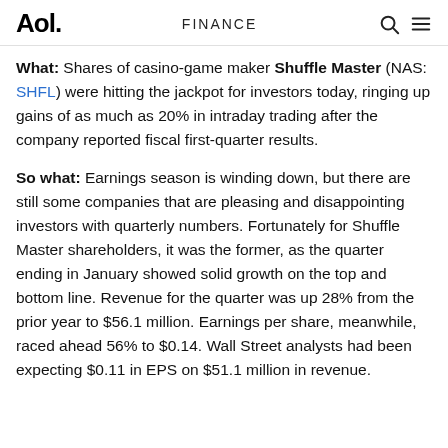Aol. | FINANCE
What: Shares of casino-game maker Shuffle Master (NAS: SHFL) were hitting the jackpot for investors today, ringing up gains of as much as 20% in intraday trading after the company reported fiscal first-quarter results.
So what: Earnings season is winding down, but there are still some companies that are pleasing and disappointing investors with quarterly numbers. Fortunately for Shuffle Master shareholders, it was the former, as the quarter ending in January showed solid growth on the top and bottom line. Revenue for the quarter was up 28% from the prior year to $56.1 million. Earnings per share, meanwhile, raced ahead 56% to $0.14. Wall Street analysts had been expecting $0.11 in EPS on $51.1 million in revenue.